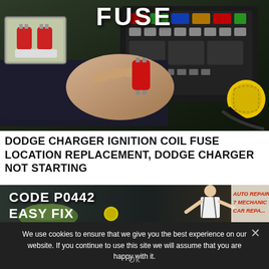[Figure (screenshot): Thumbnail of car fuse box with hand pulling red fuse and small inset image of a blade fuse. White bold text 'FUSE' at top center.]
DODGE CHARGER IGNITION COIL FUSE LOCATION REPLACEMENT, DODGE CHARGER NOT STARTING
[Figure (screenshot): Thumbnail showing mechanic working on car engine with bold text overlay: 'CODE P0442 EASY FIX' and partial text 'AUTO REPAIR GU... ? MECHANIC... CAR REPA...' on right side.]
We use cookies to ensure that we give you the best experience on our website. If you continue to use this site we will assume that you are happy with it.